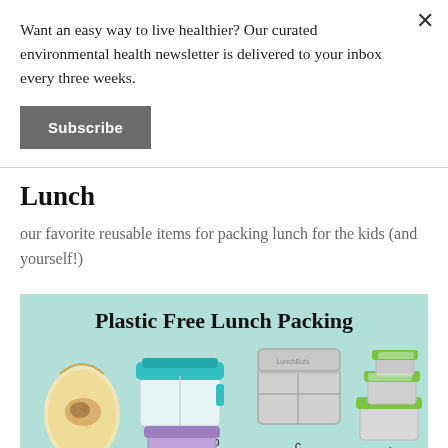Want an easy way to live healthier? Our curated environmental health newsletter is delivered to your inbox every three weeks.
Subscribe
Lunch
our favorite reusable items for packing lunch for the kids (and yourself!)
[Figure (infographic): Infographic titled 'Plastic Free Lunch Packing' on a mint/light teal background showing various reusable lunch containers labeled a, b, c, d: a) beeswax wrap with food, b) glass container with teal lid, c) stainless steel bento box, d) stacking stainless steel containers with green lids]